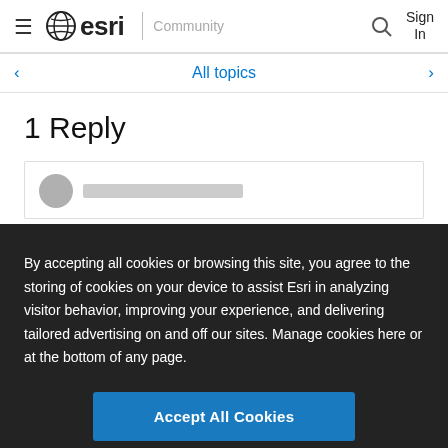≡ esri | Community  🔍 Sign In
< All topics >
1 Reply
By accepting all cookies or browsing this site, you agree to the storing of cookies on your device to assist Esri in analyzing visitor behavior, improving your experience, and delivering tailored advertising on and off our sites. Manage cookies here or at the bottom of any page.
Accept All Cookies
Cookies Settings